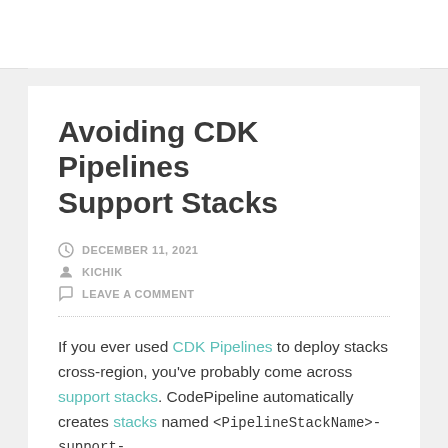Avoiding CDK Pipelines Support Stacks
DECEMBER 11, 2021
KICHIK
LEAVE A COMMENT
If you ever used CDK Pipelines to deploy stacks cross-region, you've probably come across support stacks. CodePipeline automatically creates stacks named <PipelineStackName>-support-<region> that contain a bucket and sometimes a